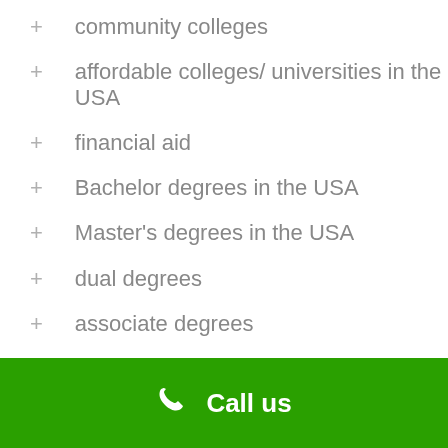community colleges
affordable colleges/ universities in the USA
financial aid
Bachelor degrees in the USA
Master's degrees in the USA
dual degrees
associate degrees
Doctorate
Call us